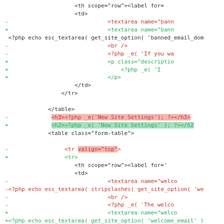Code diff showing PHP/HTML changes including textarea, h3/h2, table, and tr elements
[Figure (screenshot): A code diff view showing removed (red) and added (green) lines of PHP/HTML code. Removed lines are prefixed with '-' in red, added lines prefixed with '+' in green. Highlighted backgrounds mark specific changed tokens. Content includes textarea, br, h3/h2 tags, table elements, and tr valign changes.]